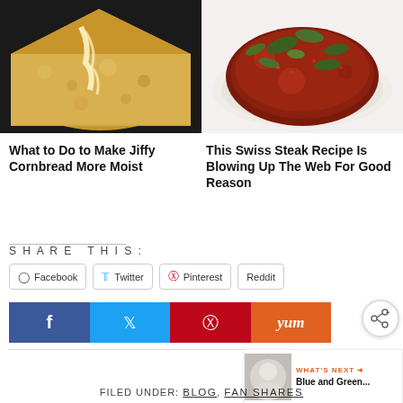[Figure (photo): Close-up photo of a moist golden cornbread slice with butter melting on top]
[Figure (photo): Swiss steak topped with red tomato sauce and fresh green herb leaves on a white plate]
What to Do to Make Jiffy Cornbread More Moist
This Swiss Steak Recipe Is Blowing Up The Web For Good Reason
SHARE THIS:
Facebook  Twitter  Pinterest  Reddit
[Figure (screenshot): Social sharing bar with Facebook, Twitter, Pinterest, Yummly buttons and a share icon popup with What's Next preview showing Blue and Green...]
FILED UNDER: BLOG, FAN SHARES